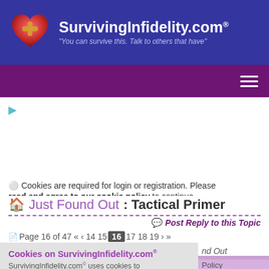SurvivingInfidelity.com® — "You can survive this. Talk to others that have"
[Figure (logo): SurvivingInfidelity.com logo with heart icon and site tagline]
Cookies are required for login or registration. Please read and agree to our cookie policy to continue.
Just Found Out : Tactical Primer
Post Reply to this Topic
Page 16 of 47 « ‹ 14 15 16 17 18 19 › »
Cookies on SurvivingInfidelity.com® SurvivingInfidelity.com® uses cookies to
nd Out
Policy